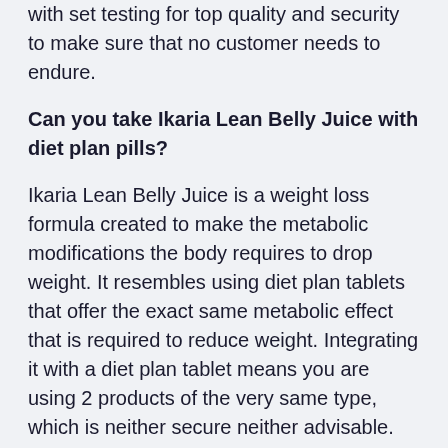with set testing for top quality and security to make sure that no customer needs to endure.
Can you take Ikaria Lean Belly Juice with diet plan pills?
Ikaria Lean Belly Juice is a weight loss formula created to make the metabolic modifications the body requires to drop weight. It resembles using diet plan tablets that offer the exact same metabolic effect that is required to reduce weight. Integrating it with a diet plan tablet means you are using 2 products of the very same type, which is neither secure neither advisable. Use one item each time, and also button to the other if the first one brings no success to you.